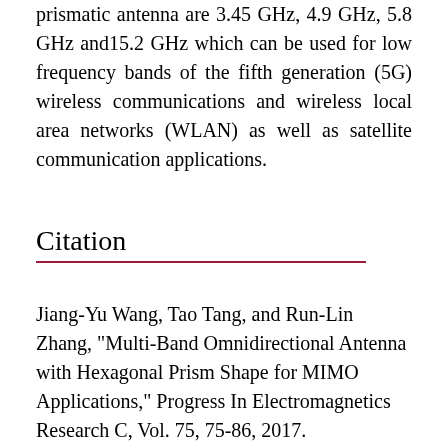prismatic antenna are 3.45 GHz, 4.9 GHz, 5.8 GHz and15.2 GHz which can be used for low frequency bands of the fifth generation (5G) wireless communications and wireless local area networks (WLAN) as well as satellite communication applications.
Citation
Jiang-Yu Wang, Tao Tang, and Run-Lin Zhang, "Multi-Band Omnidirectional Antenna with Hexagonal Prism Shape for MIMO Applications," Progress In Electromagnetics Research C, Vol. 75, 75-86, 2017.
doi:10.2528/PIERC17033101
http://jpier.org/PIERC/pier.php?paper=17033101